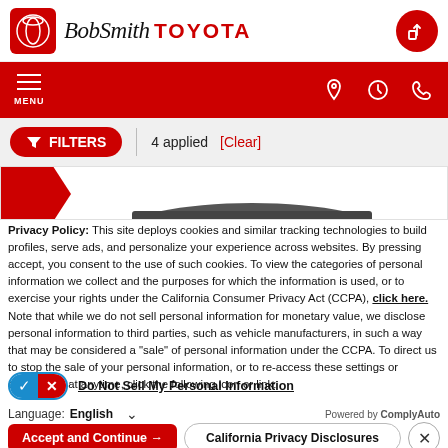[Figure (screenshot): Bob Smith Toyota dealership website header with red Toyota logo icon, cursive 'BobSmith' and bold 'TOYOTA' text, and a red share button in the top right.]
[Figure (screenshot): Red navigation bar with hamburger menu labeled MENU on the left, and location pin, clock, and phone icons on the right.]
[Figure (screenshot): Red filter button with funnel icon labeled FILTERS, vertical divider, text '4 applied [Clear]']
[Figure (screenshot): Partial view of a dark SUV/car image with red arrow strip on left side.]
Privacy Policy: This site deploys cookies and similar tracking technologies to build profiles, serve ads, and personalize your experience across websites. By pressing accept, you consent to the use of such cookies. To view the categories of personal information we collect and the purposes for which the information is used, or to exercise your rights under the California Consumer Privacy Act (CCPA), click here. Note that while we do not sell personal information for monetary value, we disclose personal information to third parties, such as vehicle manufacturers, in such a way that may be considered a "sale" of personal information under the CCPA. To direct us to stop the sale of your personal information, or to re-access these settings or disclosures at anytime, click the following icon or link:
Do Not Sell My Personal Information
Language: English
Powered by ComplyAuto
Accept and Continue →
California Privacy Disclosures